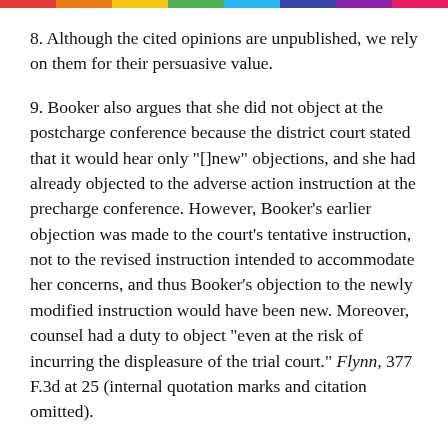8. Although the cited opinions are unpublished, we rely on them for their persuasive value.
9. Booker also argues that she did not object at the postcharge conference because the district court stated that it would hear only "[]new" objections, and she had already objected to the adverse action instruction at the precharge conference. However, Booker's earlier objection was made to the court's tentative instruction, not to the revised instruction intended to accommodate her concerns, and thus Booker's objection to the newly modified instruction would have been new. Moreover, counsel had a duty to object "even at the risk of incurring the displeasure of the trial court." Flynn, 377 F.3d at 25 (internal quotation marks and citation omitted).
10. Though Booker claims that this clause of the instructions imposed a higher burden of proof on